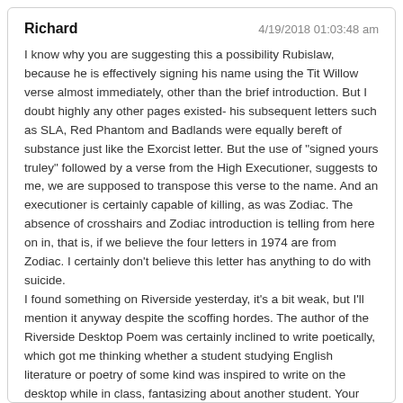Richard   4/19/2018 01:03:48 am
I know why you are suggesting this a possibility Rubislaw, because he is effectively signing his name using the Tit Willow verse almost immediately, other than the brief introduction. But I doubt highly any other pages existed- his subsequent letters such as SLA, Red Phantom and Badlands were equally bereft of substance just like the Exorcist letter. But the use of "signed yours truley" followed by a verse from the High Executioner, suggests to me, we are supposed to transpose this verse to the name. And an executioner is certainly capable of killing, as was Zodiac. The absence of crosshairs and Zodiac introduction is telling from here on in, that is, if we believe the four letters in 1974 are from Zodiac. I certainly don't believe this letter has anything to do with suicide.
I found something on Riverside yesterday, it's a bit weak, but I'll mention it anyway despite the scoffing hordes. The author of the Riverside Desktop Poem was certainly inclined to write poetically, which got me thinking whether a student studying English literature or poetry of some kind was inspired to write on the desktop while in class, fantasizing about another student. Your poetry style would certainly be influenced by poetry you read, or the wording you use. The